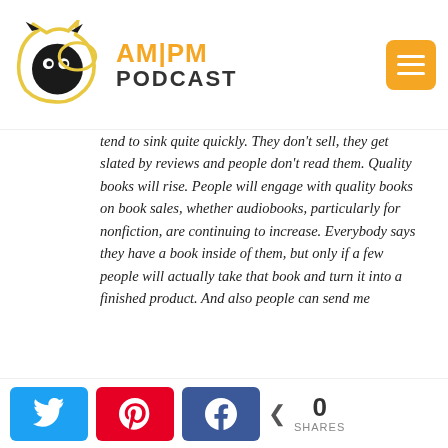AM|PM PODCAST
tend to sink quite quickly. They don't sell, they get slated by reviews and people don't read them. Quality books will rise. People will engage with quality books on book sales, whether audiobooks, particularly for nonfiction, are continuing to increase. Everybody says they have a book inside of them, but only if a few people will actually take that book and turn it into a finished product. And also people can send me
0 SHARES